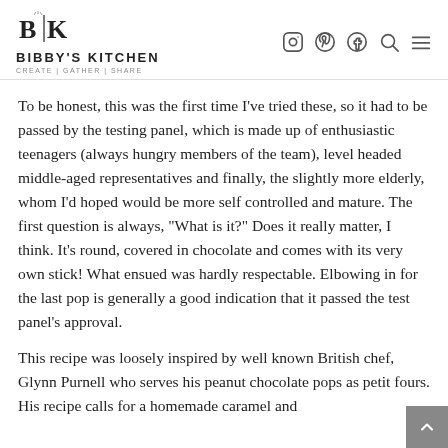BIBBY'S KITCHEN | CREATE | GATHER | SHARE
To be honest, this was the first time I've tried these, so it had to be passed by the testing panel, which is made up of enthusiastic teenagers (always hungry members of the team), level headed middle-aged representatives and finally, the slightly more elderly, whom I'd hoped would be more self controlled and mature. The first question is always, "What is it?" Does it really matter, I think. It's round, covered in chocolate and comes with its very own stick! What ensued was hardly respectable. Elbowing in for the last pop is generally a good indication that it passed the test panel's approval.
This recipe was loosely inspired by well known British chef, Glynn Purnell who serves his peanut chocolate pops as petit fours. His recipe calls for a homemade caramel and